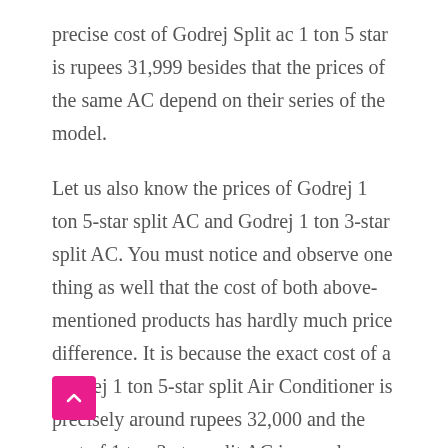precise cost of Godrej Split ac 1 ton 5 star is rupees 31,999 besides that the prices of the same AC depend on their series of the model.
Let us also know the prices of Godrej 1 ton 5-star split AC and Godrej 1 ton 3-star split AC. You must notice and observe one thing as well that the cost of both above-mentioned products has hardly much price difference. It is because the exact cost of a Godrej 1 ton 5-star split Air Conditioner is precisely around rupees 32,000 and the cost of 1 ton 3-star split AC is merely between rupees 30,000 to rulers 32,000 depending on the series of its model.
It would not be fair if you just focus on the various prices of the product while buying. You need to do an immense amount of research to get the desired product. It is because